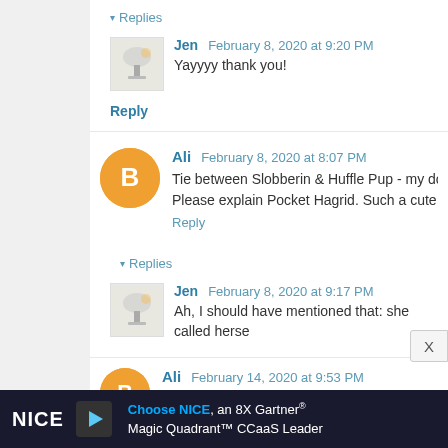▾ Replies
[Figure (illustration): Small avatar with lamp illustration]
Jen   February 8, 2020 at 9:20 PM
Yayyyy thank you!
Reply
[Figure (illustration): Orange circle avatar with blogger B icon]
Ali   February 8, 2020 at 8:07 PM
Tie between Slobberin & Huffle Pup - my dog is both! Please explain Pocket Hagrid. Such a cute cosplay, but I do
Reply
▾ Replies
[Figure (illustration): Small avatar with lamp illustration]
Jen   February 8, 2020 at 9:17 PM
Ah, I should have mentioned that: she called herse
[Figure (illustration): Orange circle avatar with blogger B icon]
Ali   February 14, 2020 at 9:53 PM
Choose NICE, an 8X Gartner® Magic Quadrant™ CCaaS Leader